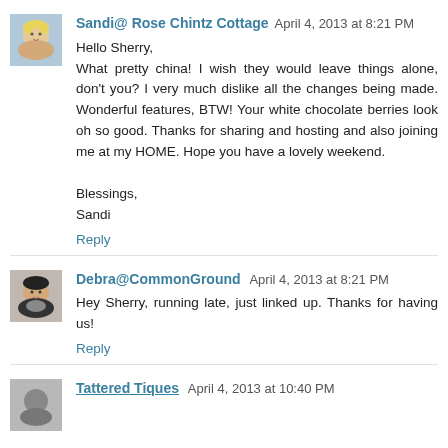Sandi@ Rose Chintz Cottage April 4, 2013 at 8:21 PM
Hello Sherry,
What pretty china! I wish they would leave things alone, don't you? I very much dislike all the changes being made. Wonderful features, BTW! Your white chocolate berries look oh so good. Thanks for sharing and hosting and also joining me at my HOME. Hope you have a lovely weekend.

Blessings,
Sandi

Reply
Debra@CommonGround April 4, 2013 at 8:21 PM
Hey Sherry, running late, just linked up. Thanks for having us!

Reply
Tattered Tiques April 4, 2013 at 10:40 PM